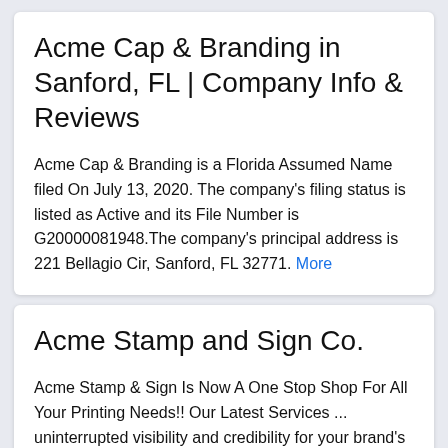Acme Cap & Branding in Sanford, FL | Company Info & Reviews
Acme Cap & Branding is a Florida Assumed Name filed On July 13, 2020. The company's filing status is listed as Active and its File Number is G20000081948.The company's principal address is 221 Bellagio Cir, Sanford, FL 32771. More
Acme Stamp and Sign Co.
Acme Stamp & Sign Is Now A One Stop Shop For All Your Printing Needs!! Our Latest Services ... uninterrupted visibility and credibility for your brand's campaign ... Create powerful visual statement with our High Definition Indoor Prints. Request Quote.